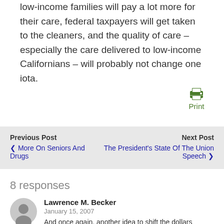in calif. Californians will pay more for their health care, low-income families will pay a lot more for their care, federal taxpayers will get taken to the cleaners, and the quality of care – especially the care delivered to low-income Californians – will probably not change one iota.
[Figure (other): Green printer icon with label 'Print']
Previous Post
‹ More On Seniors And Drugs
Next Post
The President's State Of The Union Speech ›
8 responses
Lawrence M. Becker
January 15, 2007
And once again, another idea to shift the dollars around.